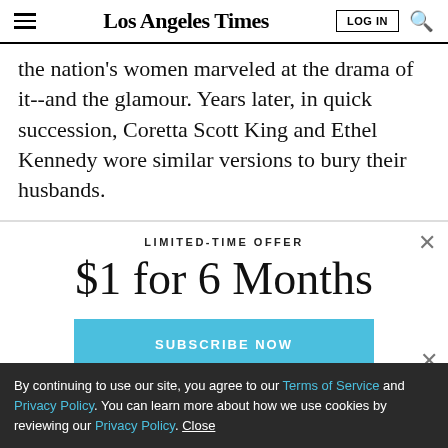Los Angeles Times
the nation's women marveled at the drama of it--and the glamour. Years later, in quick succession, Coretta Scott King and Ethel Kennedy wore similar versions to bury their husbands.
I... (cropped/partially visible line)
LIMITED-TIME OFFER
$1 for 6 Months
SUBSCRIBE NOW
By continuing to use our site, you agree to our Terms of Service and Privacy Policy. You can learn more about how we use cookies by reviewing our Privacy Policy. Close